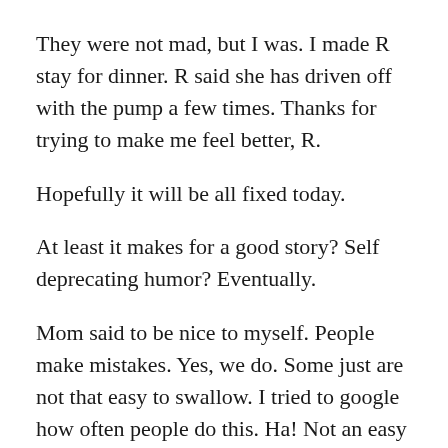They were not mad, but I was. I made R stay for dinner. R said she has driven off with the pump a few times. Thanks for trying to make me feel better, R.
Hopefully it will be all fixed today.
At least it makes for a good story? Self deprecating humor? Eventually.
Mom said to be nice to myself. People make mistakes. Yes, we do. Some just are not that easy to swallow. I tried to google how often people do this. Ha! Not an easy answer. I will find the humor!
Today is a new day, as my mother said this very